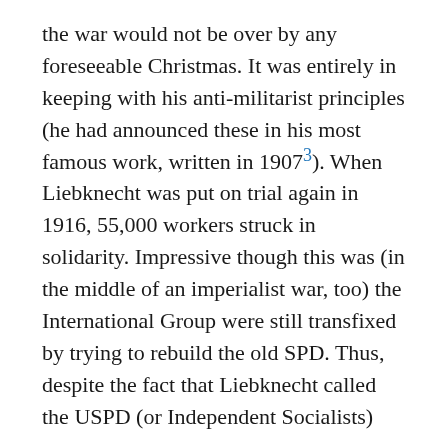the war would not be over by any foreseeable Christmas. It was entirely in keeping with his anti-militarist principles (he had announced these in his most famous work, written in 1907³). When Liebknecht was put on trial again in 1916, 55,000 workers struck in solidarity. Impressive though this was (in the middle of an imperialist war, too) the International Group were still transfixed by trying to rebuild the old SPD. Thus, despite the fact that Liebknecht called the USPD (or Independent Socialists)
"... a crowd of heterogeneous elements thrown together ad hoc; a crowd of such contradictory views on theory and tactics, and such different degrees of energy and firmness, that it would be incapable, to start with of carrying out as a group a consistent socialist policy, a